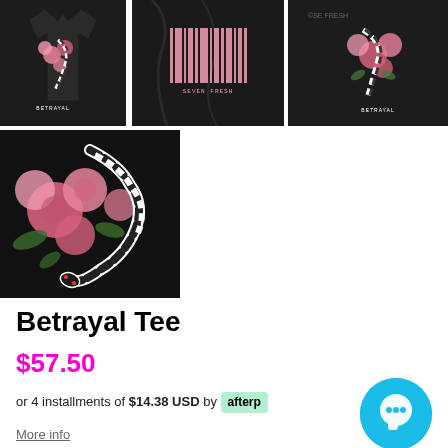[Figure (photo): Four product photos of the Betrayal Tee: top-left shows black t-shirt with snake and pink roses and BETRAYAL text; top-center shows barcode design with pink stripes; top-right shows close-up of snake and roses with BETRAYAL text; bottom-left shows large close-up of black-and-white striped snake coiled among pink roses on dark background.]
Betrayal Tee
$57.50
or 4 installments of $14.38 USD by afterpay
More info